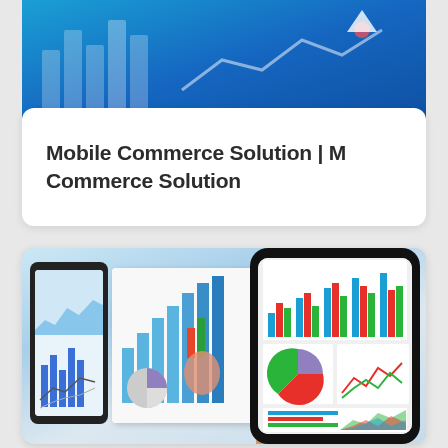[Figure (photo): Top decorative banner image with blue gradient background representing mobile commerce/technology theme]
Mobile Commerce Solution | M Commerce Solution
[Figure (photo): Photo of a hand holding a smartphone displaying business charts and graphs, with a tablet and printed charts visible in the background, representing mobile commerce analytics and data visualization]